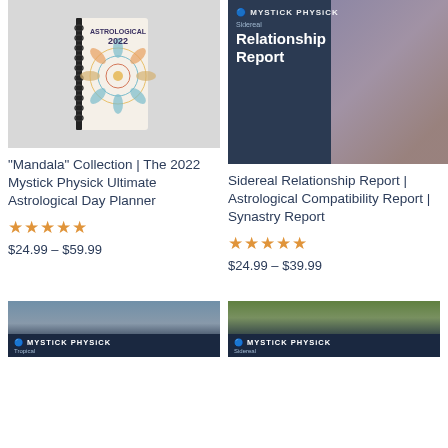[Figure (photo): Mandala 2022 spiral-bound planner book with colorful mandala pattern cover on gray background]
[Figure (photo): Mystick Physick Sidereal Relationship Report book cover with dark navy background and woman with flowing hair]
"Mandala" Collection | The 2022 Mystick Physick Ultimate Astrological Day Planner
Sidereal Relationship Report | Astrological Compatibility Report | Synastry Report
★★★★★ $24.99 – $59.99
★★★★★ $24.99 – $39.99
[Figure (photo): Mystick Physick Tropical product with people standing outdoors]
[Figure (photo): Mystick Physick Sidereal product with outdoor buildings and trees background]